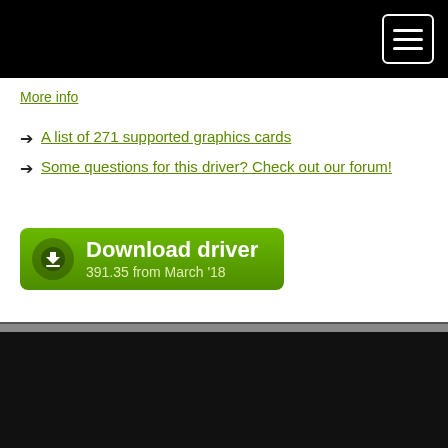More info
A list of 271 supported graphics cards
Some questions for this driver? Check out our forum!
[Figure (other): Green Download driver button with download icon. Text: Download driver, 391.35 from March '18]
|  |  |
| --- | --- |
| Version | 368.39 (10.18.13.6839) |
| OS | Vista/32, Win7/32, Win8/32, Win8.1/32 |
| Release | 2016-06-03 [June '16] |
| Status | WHQL |
| Size | 274,95 MB |
| Downloaded | 90404× |